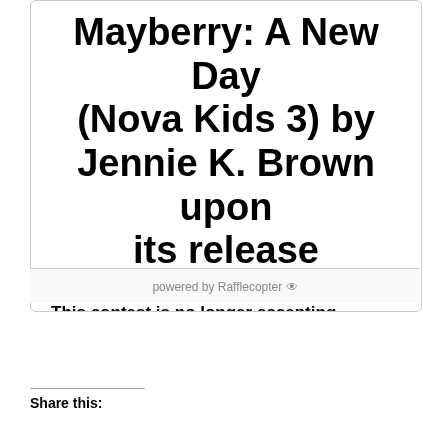Mayberry: A New Day (Nova Kids 3) by Jennie K. Brown upon its release
This contest is no longer accepting entries.
powered by Rafflecopter
Share this: